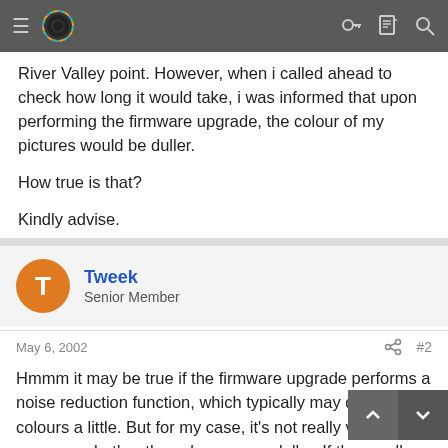Nav bar with hamburger menu, logo, and icons (key, document, search)
River Valley point. However, when i called ahead to check how long it would take, i was informed that upon performing the firmware upgrade, the colour of my pictures would be duller.
How true is that?
Kindly advise.
Tweek
Senior Member
May 6, 2002
#2
Hmmm it may be true if the firmware upgrade performs a noise reduction function, which typically may dull the colours a little. But for my case, it's not really visible to my eyes whether the colours are duller. If they really are, bump up that saturation! hehe 😀